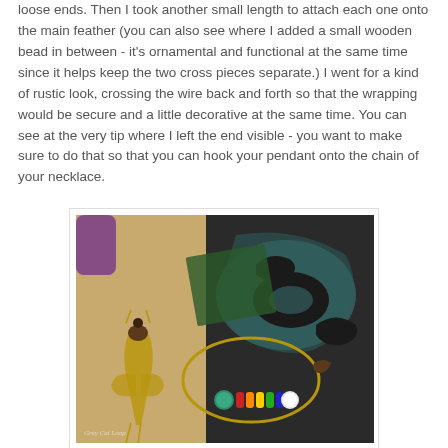loose ends. Then I took another small length to attach each one onto the main feather (you can also see where I added a small wooden bead in between - it's ornamental and functional at the same time since it helps keep the two cross pieces separate.) I went for a kind of rustic look, crossing the wire back and forth so that the wrapping would be secure and a little decorative at the same time. You can see at the very tip where I left the end visible - you want to make sure to do that so that you can hook your pendant onto the chain of your necklace.
[Figure (photo): A photo of handmade wire-wrapped jewelry pieces including feather pendants with beads, placed on a sandy surface next to a decorative metal stencil/stamp. Colorful beads (teal, rainbow, white) are visible threaded on gold wire. A watermark reads 'Grey Cat Loop' in the bottom left corner.]